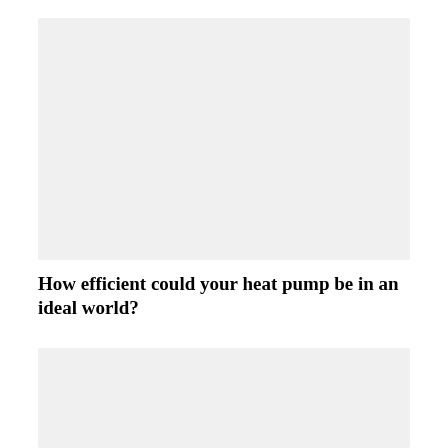[Figure (other): Light gray placeholder image block at top of page]
How efficient could your heat pump be in an ideal world?
[Figure (other): Light gray placeholder image block at bottom of page]